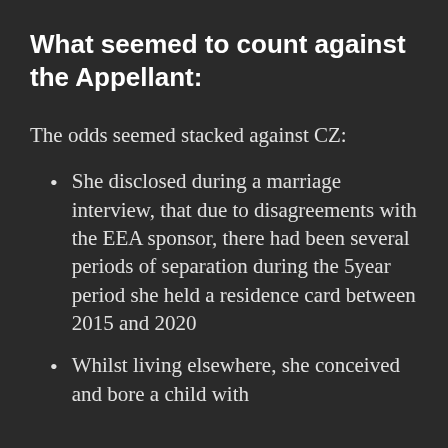What seemed to count against the Appellant:
The odds seemed stacked against CZ:
She disclosed during a marriage interview, that due to disagreements with the EEA sponsor, there had been several periods of separation during the 5year period she held a residence card between 2015 and 2020
Whilst living elsewhere, she conceived and bore a child with